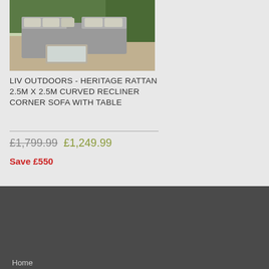[Figure (photo): Photo of a grey rattan curved corner sofa set with cushions and a glass-top coffee table, displayed outdoors on gravel with greenery in background]
LIV OUTDOORS - HERITAGE RATTAN 2.5M X 2.5M CURVED RECLINER CORNER SOFA WITH TABLE
£1,799.99  £1,249.99
Save £550
We serve cookies on this site to analyse traffic and optimise your experience.

See More Details   Ok
Home